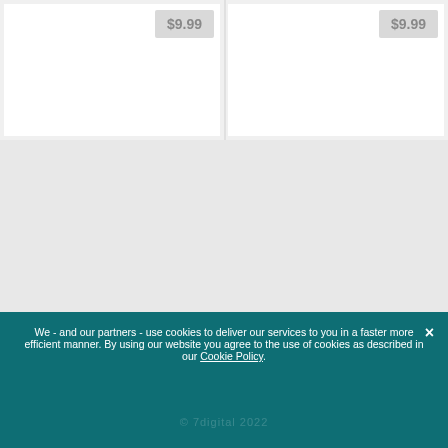$9.99
$9.99
7digital  Corporate  Careers  Legal / Cookie Policy  Help
[Figure (other): Twitter bird icon in cyan circle]
[Figure (other): Facebook f icon in dark blue circle]
Back to the top
We - and our partners - use cookies to deliver our services to you in a faster more efficient manner. By using our website you agree to the use of cookies as described in our Cookie Policy.